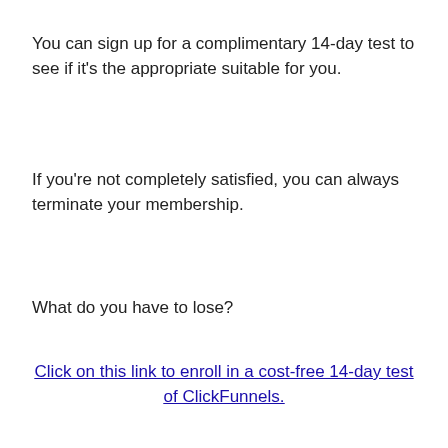You can sign up for a complimentary 14-day test to see if it's the appropriate suitable for you.
If you're not completely satisfied, you can always terminate your membership.
What do you have to lose?
Click on this link to enroll in a cost-free 14-day test of ClickFunnels.